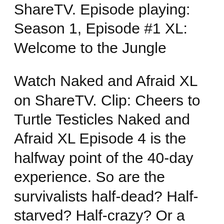ShareTV. Episode playing: Season 1, Episode #1 XL: Welcome to the Jungle
Watch Naked and Afraid XL on ShareTV. Clip: Cheers to Turtle Testicles Naked and Afraid XL Episode 4 is the halfway point of the 40-day experience. So are the survivalists half-dead? Half-starved? Half-crazy? Or a little each??
Naked and Afraid XL is a TV series starring Michael Brown, Shane J. Lewis, and Matt Wright. A group of amateur survivalists are put to the ultimate test in the wild A group of amateur survivalists are put to the ultimate test in the wild for 40 days with nothing but a few primitive tools. No food. No